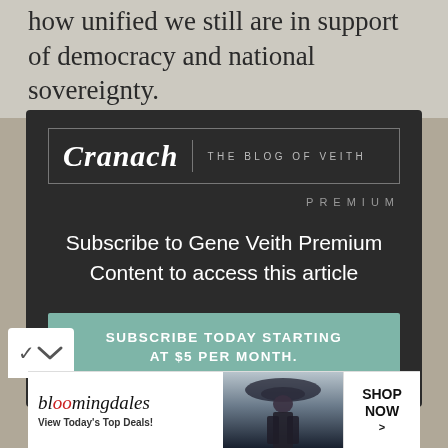how unified we still are in support of democracy and national sovereignty.
[Figure (screenshot): Cranach: The Blog of Veith – Premium subscription modal overlay on dark background, with logo box, PREMIUM label, subscribe message, and teal subscribe button]
[Figure (infographic): Bloomingdale's advertisement banner: 'View Today's Top Deals!' with SHOP NOW > button and image of woman in hat]